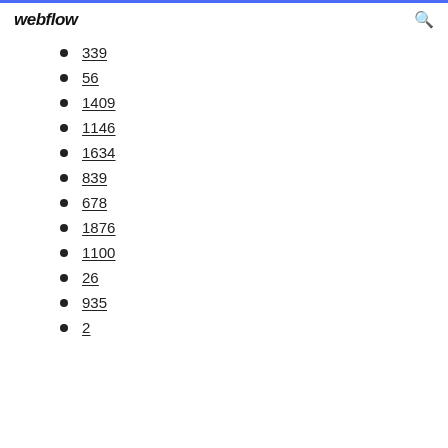webflow
339
56
1409
1146
1634
839
678
1876
1100
26
935
2